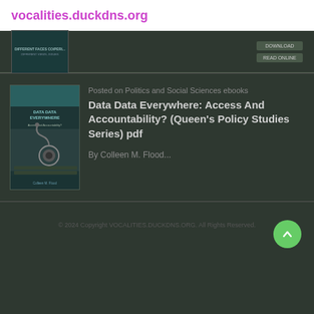vocalities.duckdns.org
[Figure (photo): Partial book cover visible at top, with small buttons on right side]
[Figure (photo): Book cover for 'Data Data Everywhere: Access and Accountability? (Queen's Policy Studies Series)' showing a stethoscope on a keyboard]
Posted on Politics and Social Sciences ebooks
Data Data Everywhere: Access And Accountability? (Queen's Policy Studies Series) pdf
By Colleen M. Flood...
© 2024 Copyright VOCALITIES.DUCKDNS.ORG. All Rights Reserved.